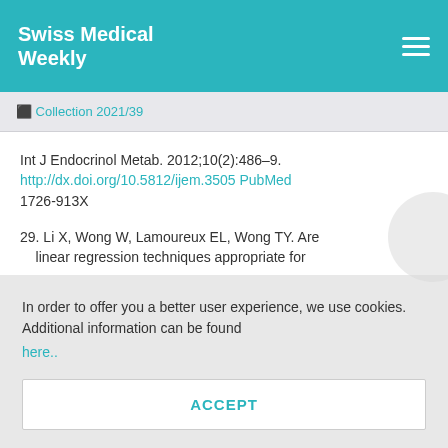Swiss Medical Weekly
Collection 2021/39
Int J Endocrinol Metab. 2012;10(2):486–9. http://dx.doi.org/10.5812/ijem.3505 PubMed 1726-913X
29. Li X, Wong W, Lamoureux EL, Wong TY. Are linear regression techniques appropriate for
In order to offer you a better user experience, we use cookies. Additional information can be found here..
ACCEPT